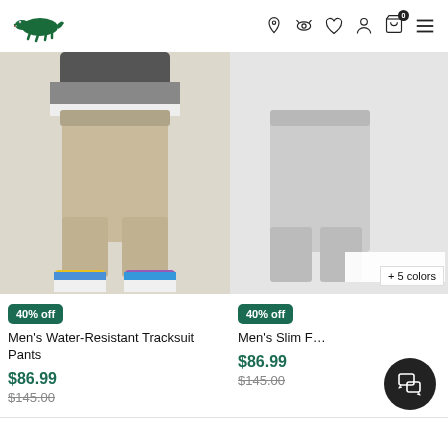Lacoste navigation header with logo and icons
[Figure (photo): Men's beige/khaki tracksuit pants worn with colorful sneakers, model shown from waist down, gray top visible at top]
[Figure (photo): Partial view of another men's product, cropped on right side, with '+5 colors' badge]
40% off
Men's Water-Resistant Tracksuit Pants
$86.99
$145.00
40% off
Men's Slim F...
$86.99
$145.00